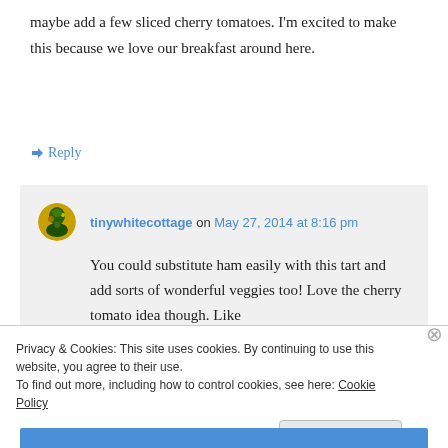maybe add a few sliced cherry tomatoes. I'm excited to make this because we love our breakfast around here.
↪ Reply
tinywhitecottage on May 27, 2014 at 8:16 pm
You could substitute ham easily with this tart and add sorts of wonderful veggies too! Love the cherry tomato idea though. Like
Privacy & Cookies: This site uses cookies. By continuing to use this website, you agree to their use.
To find out more, including how to control cookies, see here: Cookie Policy
Close and accept